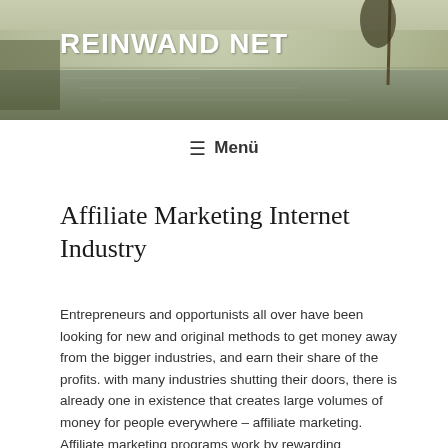REINWAND NET
☰  Menü
Affiliate Marketing Internet Industry
Entrepreneurs and opportunists all over have been looking for new and original methods to get money away from the bigger industries, and earn their share of the profits. with many industries shutting their doors, there is already one in existence that creates large volumes of money for people everywhere – affiliate marketing.
Affiliate marketing programs work by rewarding